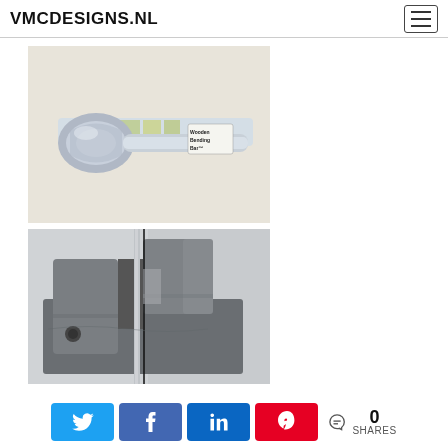VMCDESIGNS.NL
[Figure (photo): A metal bending bar tool lying on a flat surface, showing a cylindrical silver metal tool with a label reading 'Wooden Bending Bar' attached near one end, placed on a transparent acrylic or glass rod with green/yellow markings.]
[Figure (photo): Close-up photo of a metal vice or workbench clamp gripping a metal rod or tube, with cast iron jaws visible and a thin rod/wire held vertically in the gap.]
0 SHARES